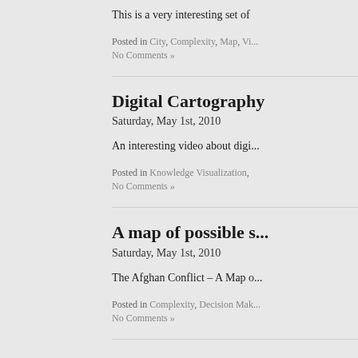This is a very interesting set of
Posted in City, Complexity, Map, Vi...
No Comments »
Digital Cartography
Saturday, May 1st, 2010
An interesting video about digi...
Posted in Knowledge Visualization,
No Comments »
A map of possible s...
Saturday, May 1st, 2010
The Afghan Conflict – A Map o...
Posted in Complexity, Decision Mak...
No Comments »